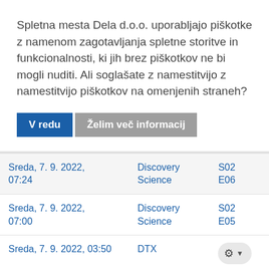Spletna mesta Dela d.o.o. uporabljajo piškotke z namenom zagotavljanja spletne storitve in funkcionalnosti, ki jih brez piškotkov ne bi mogli nuditi. Ali soglašate z namestitvijo z namestitvijo piškotkov na omenjenih straneh?
V redu | Želim več informacij
| Date | Channel | Episode |
| --- | --- | --- |
| Sreda, 7. 9. 2022, 07:24 | Discovery Science | S02 E06 |
| Sreda, 7. 9. 2022, 07:00 | Discovery Science | S02 E05 |
| Sreda, 7. 9. 2022, 03:50 | DTX | ⚙ ▾ |